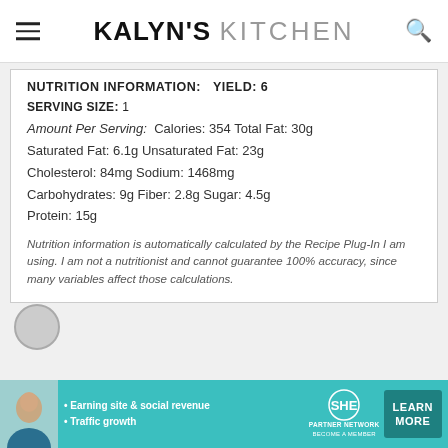KALYN'S KITCHEN
NUTRITION INFORMATION: YIELD: 6
SERVING SIZE: 1
Amount Per Serving: Calories: 354 Total Fat: 30g
Saturated Fat: 6.1g Unsaturated Fat: 23g
Cholesterol: 84mg Sodium: 1468mg
Carbohydrates: 9g Fiber: 2.8g Sugar: 4.5g
Protein: 15g
Nutrition information is automatically calculated by the Recipe Plug-In I am using. I am not a nutritionist and cannot guarantee 100% accuracy, since many variables affect those calculations.
[Figure (infographic): SHE Partner Network ad banner with photo of woman, bullet points about earning site & social revenue and traffic growth, SHE logo, and Learn More button]